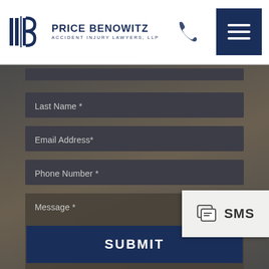[Figure (logo): Price Benowitz Accident Injury Lawyers, LLP logo with PB lettermark and phone icon, plus dark blue hamburger menu button]
Last Name *
Email Address*
SMS
Phone Number *
Message *
SUBMIT